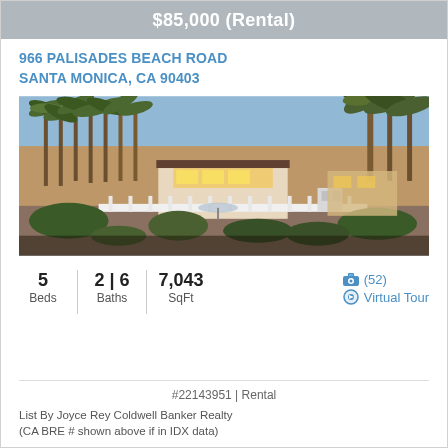$85,000 (Rental)
966 PALISADES BEACH ROAD
SANTA MONICA, CA 90403
[Figure (photo): Exterior view of a beachside luxury home with palm trees, lush tropical vegetation, white fence, and warm interior lighting against a blue sky]
5 Beds | 2 | 6 Baths | 7,043 SqFt
(52)
Virtual Tour
#22143951 | Rental
List By Joyce Rey Coldwell Banker Realty
(CA BRE # shown above if in IDX data)